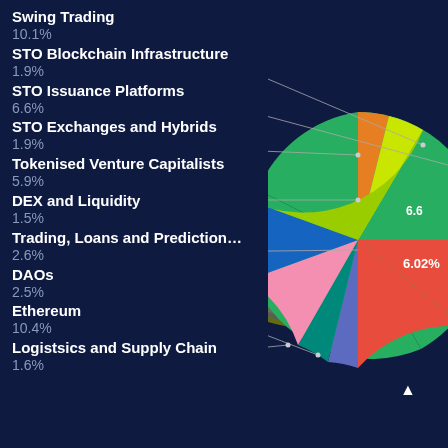[Figure (pie-chart): Portfolio Allocation]